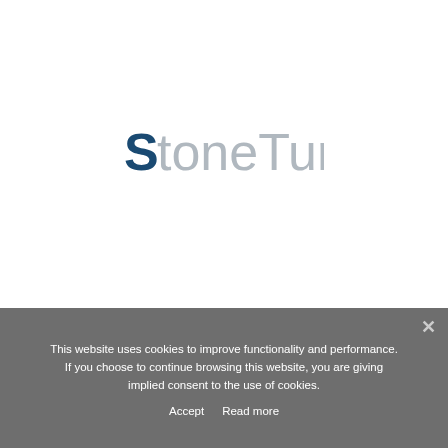[Figure (logo): StoneTurn company logo: stylized 'S' in dark blue followed by 'toneTurn' in light gray, forming the word 'StoneTurn']
This website uses cookies to improve functionality and performance. If you choose to continue browsing this website, you are giving implied consent to the use of cookies.
Accept   Read more